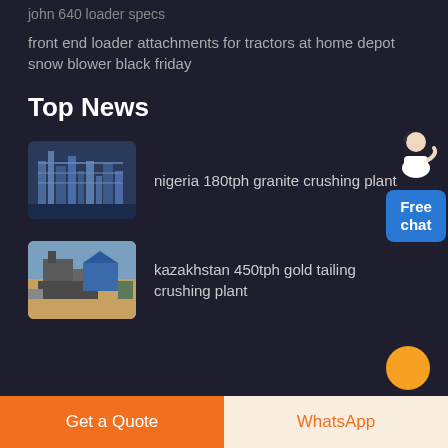john 640 loader specs
front end loader attachments for tractors at home depot snow blower black friday
Top News
[Figure (photo): Industrial crushing plant facility with blue steel structures and conveyor systems]
nigeria 180tph granite crushing plant
[Figure (photo): Outdoor gold tailing crushing plant in Kazakhstan desert setting]
kazakhstan 450tph gold tailing crushing plant
[Figure (illustration): Free chat widget with a female customer service agent figure and blue chat button]
Get a Quote
WhatsApp